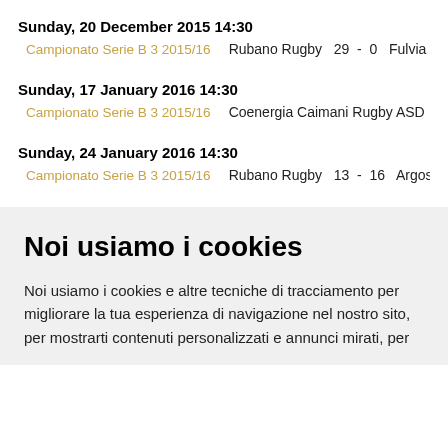Sunday, 20 December 2015 14:30
Campionato Serie B 3 2015/16   Rubano Rugby  29  -  0  Fulvia T…
Sunday, 17 January 2016 14:30
Campionato Serie B 3 2015/16  Coenergia Caimani Rugby ASD  21  -  36  Rubano…
Sunday, 24 January 2016 14:30
Campionato Serie B 3 2015/16   Rubano Rugby  13  -  16  Argos P…
Noi usiamo i cookies
Noi usiamo i cookies e altre tecniche di tracciamento per migliorare la tua esperienza di navigazione nel nostro sito, per mostrarti contenuti personalizzati e annunci mirati, per